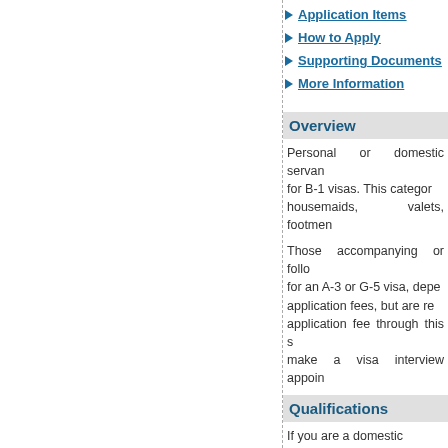Application Items
How to Apply
Supporting Documents
More Information
Overview
Personal or domestic servants may be eligible for B-1 visas. This category includes housemaids, valets, footmen
Those accompanying or following may apply for an A-3 or G-5 visa, depending on application fees, but are required to pay application fee through this system to make a visa interview appoint
Qualifications
If you are a domestic employ
The purpose of your trip is
You plan to remain in the
Your employer meets cert
You have evidence of con
You have a residence out the end of your contract.